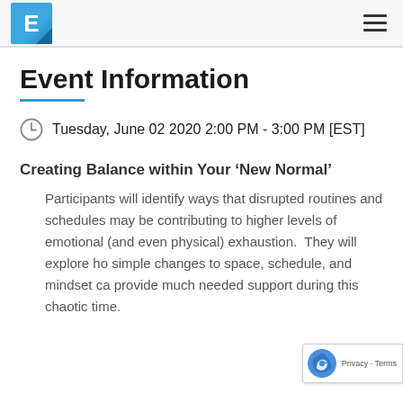E [logo] [hamburger menu]
Event Information
Tuesday, June 02 2020 2:00 PM - 3:00 PM [EST]
Creating Balance within Your ‘New Normal’
Participants will identify ways that disrupted routines and schedules may be contributing to higher levels of emotional (and even physical) exhaustion.  They will explore ho simple changes to space, schedule, and mindset ca provide much needed support during this chaotic time.